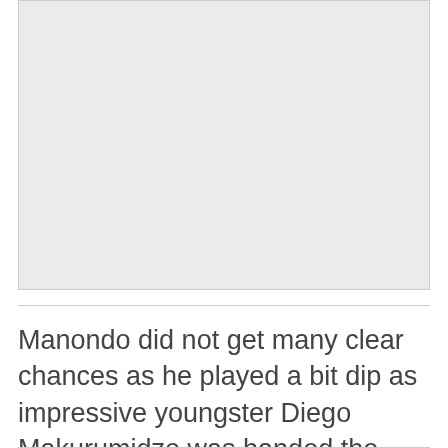[Figure (photo): Large light gray placeholder image area occupying the top portion of the page]
Manondo did not get many clear chances as he played a bit dip as impressive youngster Diego Makurumidze was handed the responsibility to lead the attack.